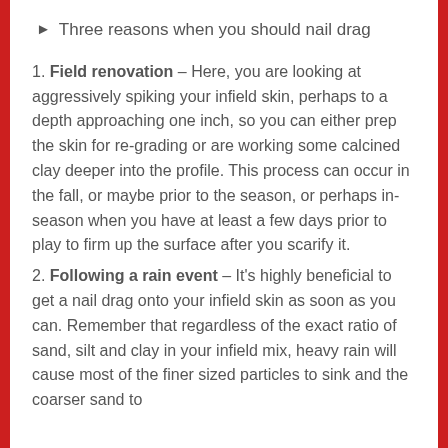▶ Three reasons when you should nail drag
1. Field renovation – Here, you are looking at aggressively spiking your infield skin, perhaps to a depth approaching one inch, so you can either prep the skin for re-grading or are working some calcined clay deeper into the profile. This process can occur in the fall, or maybe prior to the season, or perhaps in-season when you have at least a few days prior to play to firm up the surface after you scarify it.
2. Following a rain event – It's highly beneficial to get a nail drag onto your infield skin as soon as you can. Remember that regardless of the exact ratio of sand, silt and clay in your infield mix, heavy rain will cause most of the finer sized particles to sink and the coarser sand to